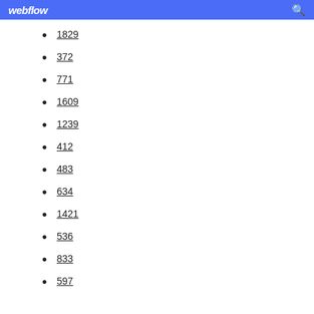webflow
1829
372
771
1609
1239
412
483
634
1421
536
833
597